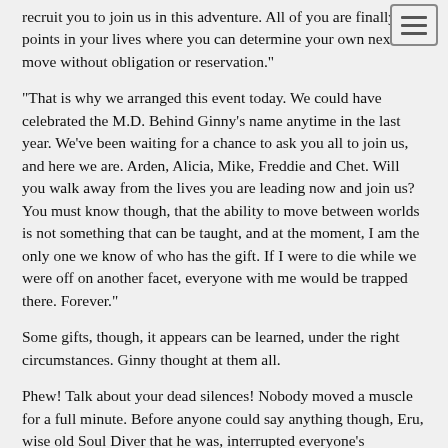recruit you to join us in this adventure. All of you are finally at points in your lives where you can determine your own next move without obligation or reservation."
"That is why we arranged this event today. We could have celebrated the M.D. Behind Ginny's name anytime in the last year. We've been waiting for a chance to ask you all to join us, and here we are. Arden, Alicia, Mike, Freddie and Chet. Will you walk away from the lives you are leading now and join us? You must know though, that the ability to move between worlds is not something that can be taught, and at the moment, I am the only one we know of who has the gift. If I were to die while we were off on another facet, everyone with me would be trapped there. Forever."
Some gifts, though, it appears can be learned, under the right circumstances. Ginny thought at them all.
Phew! Talk about your dead silences! Nobody moved a muscle for a full minute. Before anyone could say anything though, Eru, wise old Soul Diver that he was, interrupted everyone's pondering.